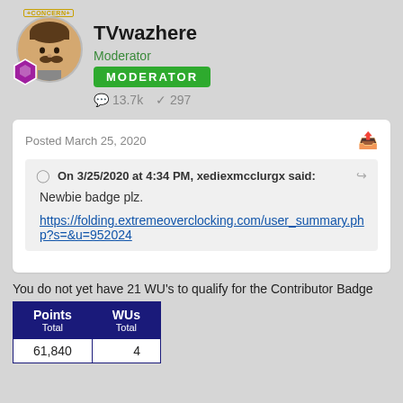TVwazhere
Moderator
MODERATOR
13.7k  297
Posted March 25, 2020
On 3/25/2020 at 4:34 PM, xediexmcclurgx said:
Newbie badge plz.

https://folding.extremeoverclocking.com/user_summary.php?s=&u=952024
You do not yet have 21 WU's to qualify for the Contributor Badge
| Points
Total | WUs
Total |
| --- | --- |
| 61,840 | 4 |